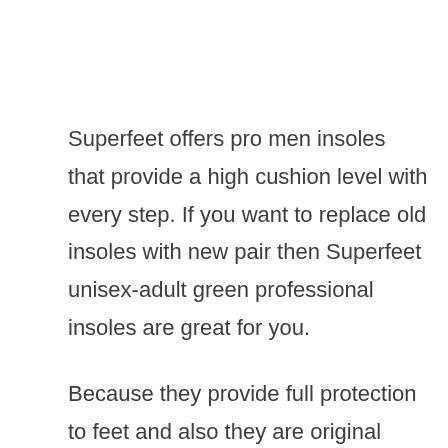Superfeet offers pro men insoles that provide a high cushion level with every step. If you want to replace old insoles with new pair then Superfeet unisex-adult green professional insoles are great for you.
Because they provide full protection to feet and also they are original orthotic.